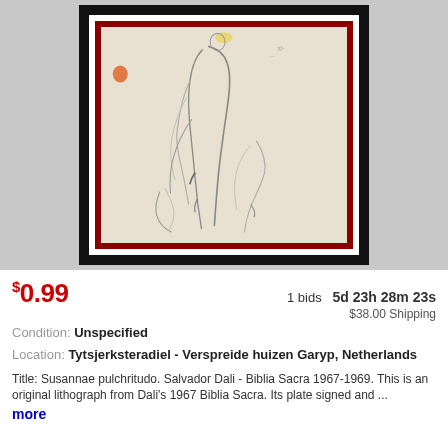[Figure (photo): Framed lithograph artwork with black frame, white mat, red inner mat showing a pencil/ink sketch of a standing robed figure with other figures, attributed to Salvador Dali Biblia Sacra 1967-1969]
$0.99
1 bids  5d 23h 28m 23s
$38.00 Shipping
Condition: Unspecified
Location: Tytsjerksteradiel - Verspreide huizen Garyp, Netherlands
Title: Susannae pulchritudo. Salvador Dali - Biblia Sacra 1967-1969. This is an original lithograph from Dali's 1967 Biblia Sacra. Its plate signed and ...
more